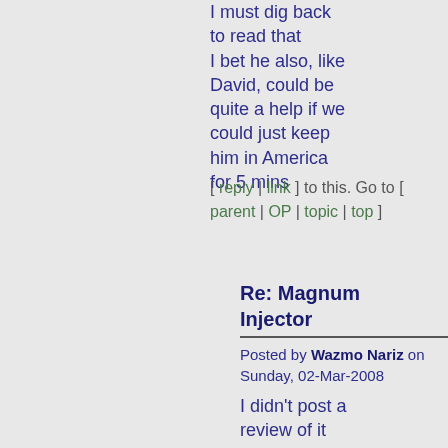I must dig back to read that I bet he also, like David, could be quite a help if we could just keep him in America for 5 mins
[ reply | link ] to this. Go to [ parent | OP | topic | top ]
Re: Magnum Injector
Posted by Wazmo Nariz on Sunday, 02-Mar-2008
I didn't post a review of it here. But it is an excellent machine. Very easy to